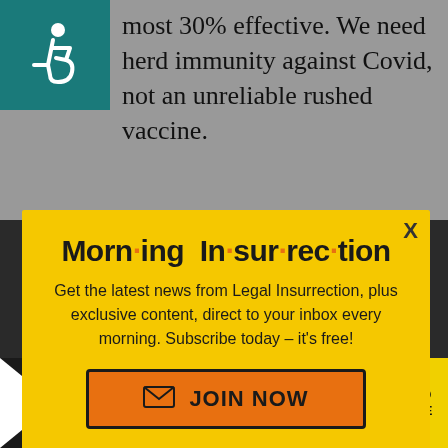[Figure (illustration): Accessibility icon — white wheelchair user symbol on teal/dark cyan square background]
most 30% effective. We need herd immunity against Covid, not an unreliable rushed vaccine.
[Figure (infographic): Morning Insurrection newsletter popup modal on yellow background with orange dot accents in the title text]
Get the latest news from Legal Insurrection, plus exclusive content, direct to your inbox every morning. Subscribe today – it's free!
JOIN NOW (button with envelope icon)
Lori Lightfoot  Chicago. Back to top
[Figure (infographic): THE PERSPECTIVE advertisement banner: 'SEE WHAT YOU'RE MISSING' with READ MORE button in yellow]